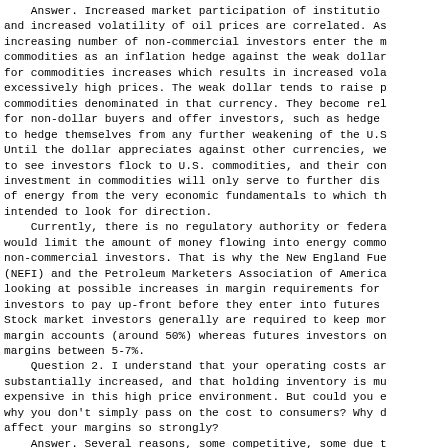Answer. Increased market participation of institutions and increased volatility of oil prices are correlated. As increasing number of non-commercial investors enter the market, commodities as an inflation hedge against the weak dollar, for commodities increases which results in increased volatility, excessively high prices. The weak dollar tends to raise prices of commodities denominated in that currency. They become relatively cheaper for non-dollar buyers and offer investors, such as hedge funds, to hedge themselves from any further weakening of the U.S. dollar. Until the dollar appreciates against other currencies, we can expect to see investors flock to U.S. commodities, and their continued investment in commodities will only serve to further disconnect prices of energy from the very economic fundamentals to which they are intended to look for direction.
    Currently, there is no regulatory authority or federal law that would limit the amount of money flowing into energy commodities by non-commercial investors. That is why the New England Fuel Institute (NEFI) and the Petroleum Marketers Association of America are looking at possible increases in margin requirements for non-commercial investors to pay up-front before they enter into futures contracts. Stock market investors generally are required to keep more money in margin accounts (around 50%) whereas futures investors only maintain margins between 5-7%.
    Question 2. I understand that your operating costs are substantially increased, and that holding inventory is much more expensive in this high price environment. But could you explain why you don't simply pass on the cost to consumers? Why does it affect your margins so strongly?
    Answer. Several reasons, some competitive, some due to the sophistication of the small businesses that make up the